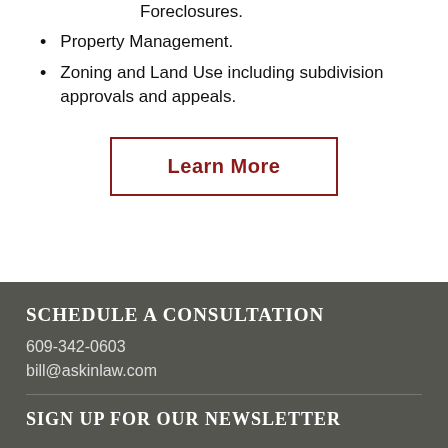Foreclosures.
Property Management.
Zoning and Land Use including subdivision approvals and appeals.
Learn More
SCHEDULE A CONSULTATION
609-342-0603
bill@askinlaw.com
SIGN UP FOR OUR NEWSLETTER